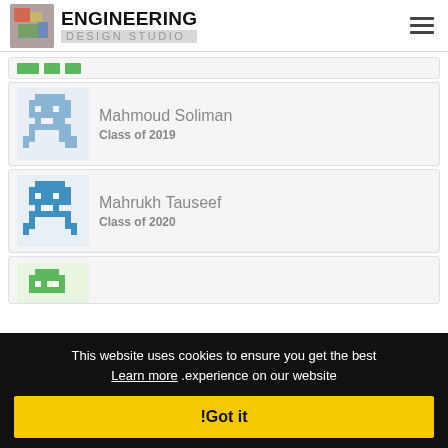ENGINEERING DESIGN STUDIO
[Figure (illustration): Partial student card with green colored dots/squares visible at top]
Mahmoud Soliman
Class of 2019
Mahrukh Tauseef
Class of 2020
[Figure (illustration): Partial student cards with green and blue pixel-art avatars at bottom]
This website uses cookies to ensure you get the best Learn more .experience on our website
!Got it